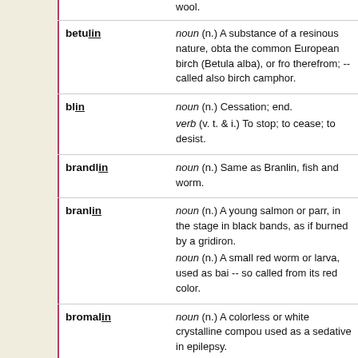noun (n.) A fine worsted or fancy wool; Zephyr ... wool.
betulin — noun (n.) A substance of a resinous nature, obta the common European birch (Betula alba), or fro therefrom; -- called also birch camphor.
blin — noun (n.) Cessation; end. verb (v. t. & i.) To stop; to cease; to desist.
brandlin — noun (n.) Same as Branlin, fish and worm.
branlin — noun (n.) A young salmon or parr, in the stage in black bands, as if burned by a gridiron. noun (n.) A small red worm or larva, used as bai -- so called from its red color.
bromalin — noun (n.) A colorless or white crystalline compou used as a sedative in epilepsy.
calendulin — noun (n.) A gummy or mucilaginous tasteless su marigold or calendula, and analogous to bassori
calin — noun (n.) An alloy of lead and tin, of which the C canisters.
capelin — noun (n.) A small marine fish (Mallotus villosus) very abundant on the coasts of Greenland, Icela Alaska. It is used as a bait for the cod.